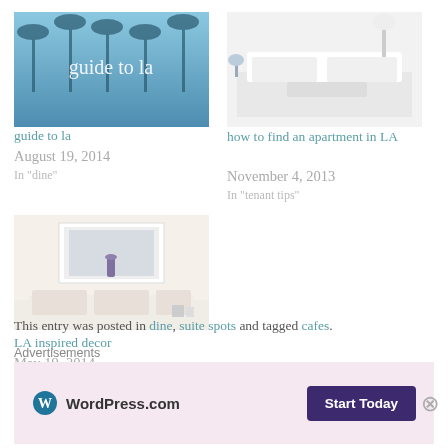[Figure (photo): Guide to LA blog card image with palm trees and blue sky, text overlay 'guide to la']
guide to la
August 19, 2014
In "dine"
[Figure (photo): White modern living room interior with sofa and coffee table]
how to find an apartment in LA
November 4, 2013
In "tenant tips"
[Figure (photo): LA inspired decor room with white sofa and artwork on wall]
LA inspired decor
May 19, 2014
In "decorate"
This entry was posted in dine, suite spots and tagged cafes.
Advertisements
[Figure (infographic): WordPress.com advertisement banner with Start Today button]